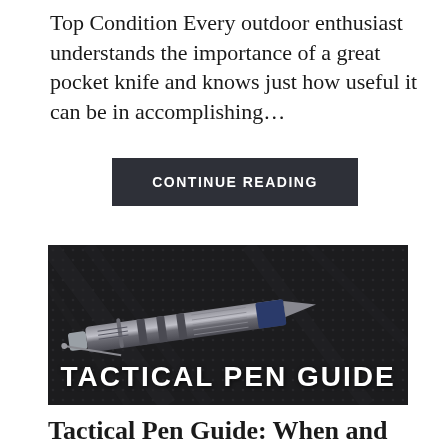Top Condition Every outdoor enthusiast understands the importance of a great pocket knife and knows just how useful it can be in accomplishing...
CONTINUE READING
[Figure (photo): Dark tactical pen lying on a black textured fabric background with text overlay reading TACTICAL PEN GUIDE]
Tactical Pen Guide: When and How To U...